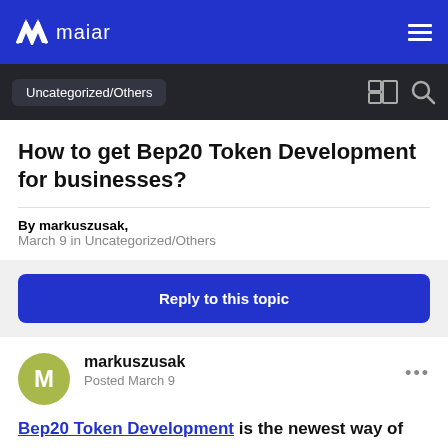maiar
Uncategorized/Others
How to get Bep20 Token Development for businesses?
By markuszusak,
March 9 in Uncategorized/Others
Reply to this topic
markuszusak
Posted March 9
Bep20 Token Development is the newest way of